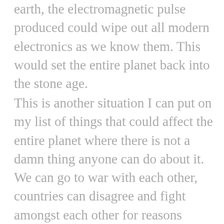earth, the electromagnetic pulse produced could wipe out all modern electronics as we know them. This would set the entire planet back into the stone age.
This is another situation I can put on my list of things that could affect the entire planet where there is not a damn thing anyone can do about it. We can go to war with each other, countries can disagree and fight amongst each other for reasons beyond my comprehension, but no one on this planet can do anything about a large meteor crashing into the planet or a massive EMP produced by the sun overtaking our electronics. I think it would be awesome if the entire planet lived on a line of thought where there are things that are above and beyond what the odd ones can do it. While